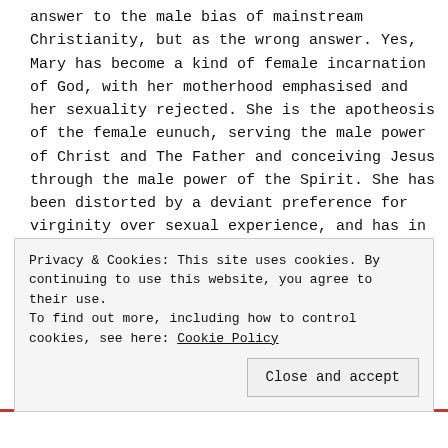answer to the male bias of mainstream Christianity, but as the wrong answer. Yes, Mary has become a kind of female incarnation of God, with her motherhood emphasised and her sexuality rejected. She is the apotheosis of the female eunuch, serving the male power of Christ and The Father and conceiving Jesus through the male power of the Spirit. She has been distorted by a deviant preference for virginity over sexual experience, and has in turn helped to
Privacy & Cookies: This site uses cookies. By continuing to use this website, you agree to their use. To find out more, including how to control cookies, see here: Cookie Policy
Close and accept